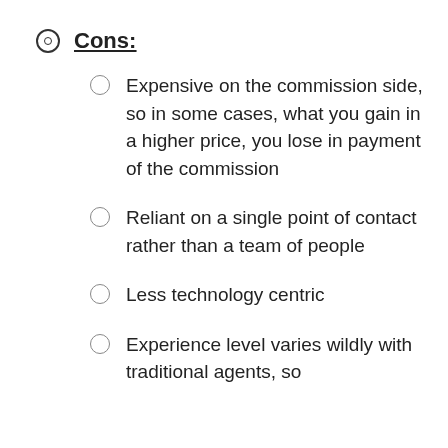Cons:
Expensive on the commission side, so in some cases, what you gain in a higher price, you lose in payment of the commission
Reliant on a single point of contact rather than a team of people
Less technology centric
Experience level varies wildly with traditional agents, so…